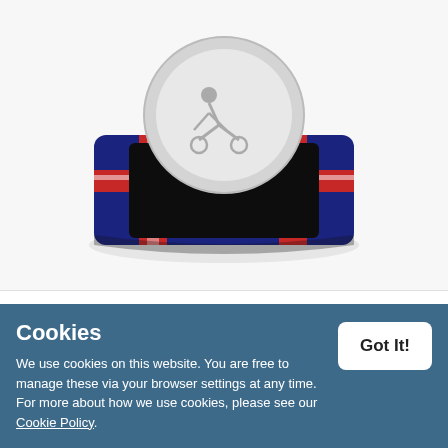[Figure (photo): Tokyo Olympic Games 2021 Cycling Proof Silver 50p Coin in a navy blue Union Jack presentation box, photographed at an angle on a white background.]
Tokyo Olympic Games 2021 Cycling Proof Silver 50p Coin
£67.50  £40.50
Limited Edition: 495
Out of stock
Cookies
We use cookies on this website. You are free to manage these via your browser settings at any time. For more about how we use cookies, please see our Cookie Policy.